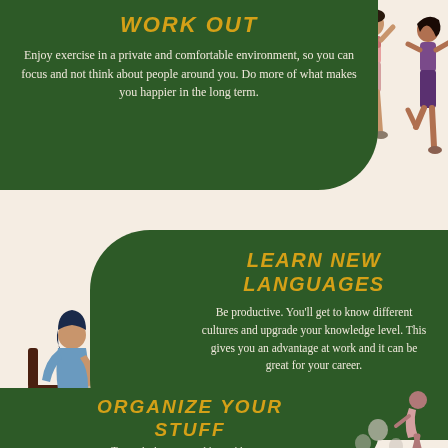WORK OUT
Enjoy exercise in a private and comfortable environment, so you can focus and not think about people around you. Do more of what makes you happier in the long term.
[Figure (illustration): Two women exercising: one in pink doing a knee lift, one in purple doing a stretch]
[Figure (illustration): Woman sitting at a desk with a computer showing a video call. Speech bubbles say BONJOUR and SALUT]
LEARN NEW LANGUAGES
Be productive. You'll get to know different cultures and upgrade your knowledge level. This gives you an advantage at work and it can be great for your career.
ORGANIZE YOUR STUFF
Try to declutter your things, tidy up...
[Figure (illustration): Person bending down organizing items, with small figures nearby]